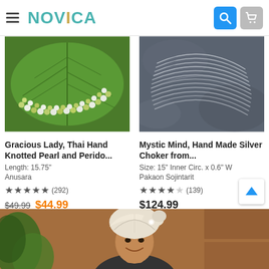NOVICA
[Figure (photo): Green leaf background with Thai hand knotted pearl and peridot necklace]
Gracious Lady, Thai Hand Knotted Pearl and Perido...
Length: 15.75"
Anusara
★★★★★ (292)
$49.99 $44.99
[Figure (photo): Silver multi-strand choker on dark slate background]
Mystic Mind, Hand Made Silver Choker from...
Size: 15" Inner Circ. x 0.6" W
Pakaon Sojintarit
★★★★☆ (139)
$124.99
[Figure (photo): Balinese man wearing traditional white headdress, partial portrait at bottom of page]